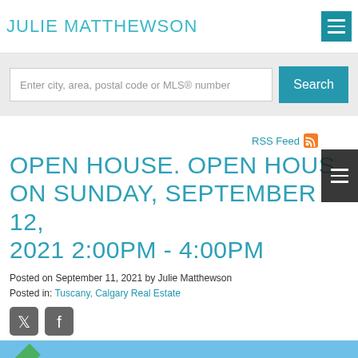JULIE MATTHEWSON
Enter city, area, postal code or MLS® number
RSS Feed
OPEN HOUSE. OPEN HOUSE ON SUNDAY, SEPTEMBER 12, 2021 2:00PM - 4:00PM
Posted on September 11, 2021 by Julie Matthewson
Posted in: Tuscany, Calgary Real Estate
[Figure (screenshot): Blue background image with green ribbon/banner in bottom left corner showing 'USE' partial text — bottom of page preview image]